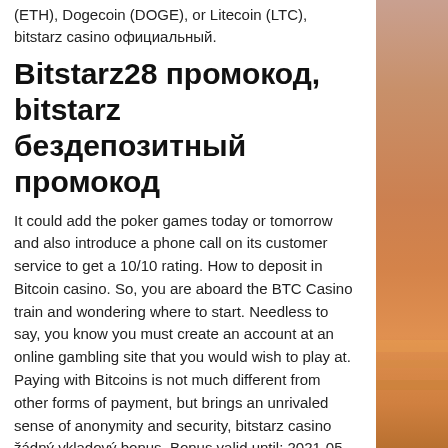(ETH), Dogecoin (DOGE), or Litecoin (LTC), bitstarz casino официальный.
Bitstarz28 промокод, bitstarz бездепозитный промокод
It could add the poker games today or tomorrow and also introduce a phone call on its customer service to get a 10/10 rating. How to deposit in Bitcoin casino. So, you are aboard the BTC Casino train and wondering where to start. Needless to say, you know you must create an account at an online gambling site that you would wish to play at. Paying with Bitcoins is not much different from other forms of payment, but brings an unrivaled sense of anonymity and security, bitstarz casino žádný vkladový bonus. Bonus valid until: 2021-05-03, bitstarz casino žádný vkladový bonus. Each Bitcoin faucet operates differently and rewards its visitors
[Figure (photo): Sunset landscape with orange and brown sky gradient on the right side of the page]